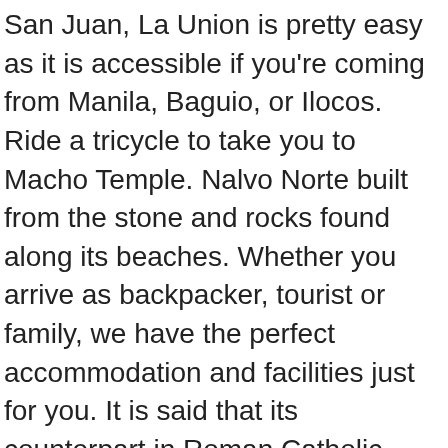San Juan, La Union is pretty easy as it is accessible if you're coming from Manila, Baguio, or Ilocos. Ride a tricycle to take you to Macho Temple. Nalvo Norte built from the stone and rocks found along its beaches. Whether you arrive as backpacker, tourist or family, we have the perfect accommodation and facilities just for you. It is said that its counterpart in Roman Catholic Religion in the Philippines is Our Lady of Casaysay in Taal Cathedral in Batangas. Partas Bus now offers direct trips from Manila (Cubao/Pasay) to San Juan, La Union (SEBAY). We are neither responsible, nor have we control, on content of any external website links. We shall not be held responsible for any loss, inconvenience or injury to any entity/party due to unintentional changes or errors inherent in the information obtained. Urbiztondo Beach in San Juan is the most popular surfing spot and main tourist area. The beaches of Bauang, San Fernando, and San Juan are among the most favorite. The erstwhile sleepy town of San Gabriel is now one of the top tourist spots in La Union; a magnet of adventure-seekers due to Tangadan Falls. Inside the